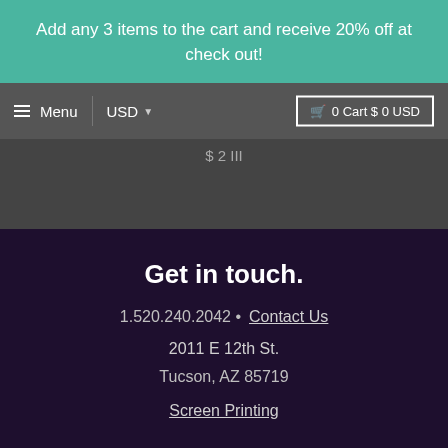Add any 3 items to the cart and receive 20% off at check out!
Menu  USD  0 Cart $ 0 USD
$ 2 III
Get in touch.
1.520.240.2042 • Contact Us
2011 E 12th St.
Tucson, AZ 85719
Screen Printing